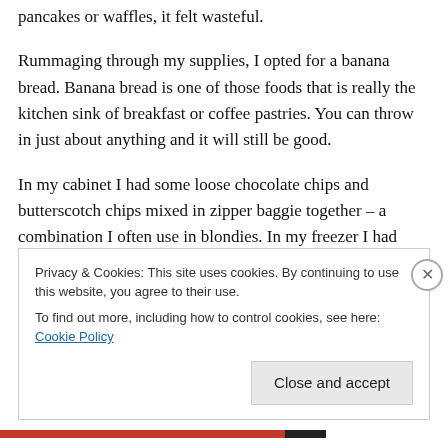pancakes or waffles, it felt wasteful.
Rummaging through my supplies, I opted for a banana bread. Banana bread is one of those foods that is really the kitchen sink of breakfast or coffee pastries. You can throw in just about anything and it will still be good.
In my cabinet I had some loose chocolate chips and butterscotch chips mixed in zipper baggie together – a combination I often use in blondies. In my freezer I had about 3 frozen bananas – something I usually save for
Privacy & Cookies: This site uses cookies. By continuing to use this website, you agree to their use.
To find out more, including how to control cookies, see here: Cookie Policy